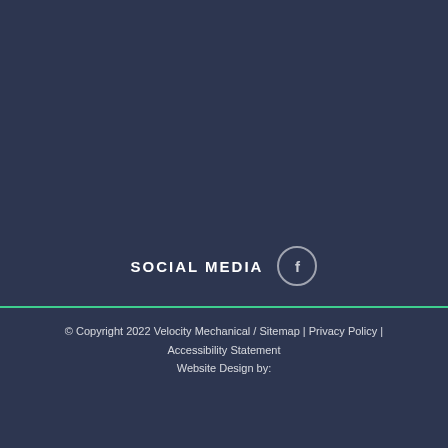SOCIAL MEDIA
© Copyright 2022 Velocity Mechanical / Sitemap | Privacy Policy | Accessibility Statement
Website Design by: